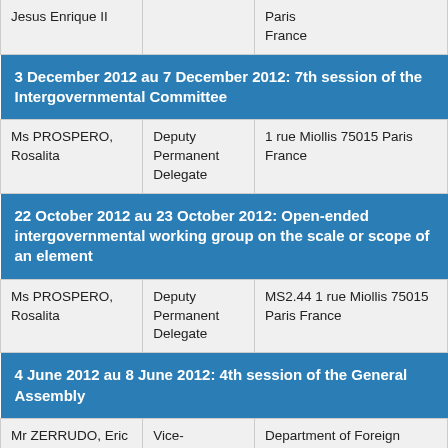| Name | Role | Location |
| --- | --- | --- |
| Jesus Enrique II |  | Paris
France |
| 3 December 2012 au 7 December 2012: 7th session of the Intergovernmental Committee |  |  |
| Ms PROSPERO, Rosalita | Deputy Permanent Delegate | 1 rue Miollis 75015 Paris France |
| 22 October 2012 au 23 October 2012: Open-ended intergovernmental working group on the scale or scope of an element |  |  |
| Ms PROSPERO, Rosalita | Deputy Permanent Delegate | MS2.44 1 rue Miollis 75015 Paris France |
| 4 June 2012 au 8 June 2012: 4th session of the General Assembly |  |  |
| Mr ZERRUDO, Eric | Vice-Chairperson, | Department of Foreign Affairs, 2330 |